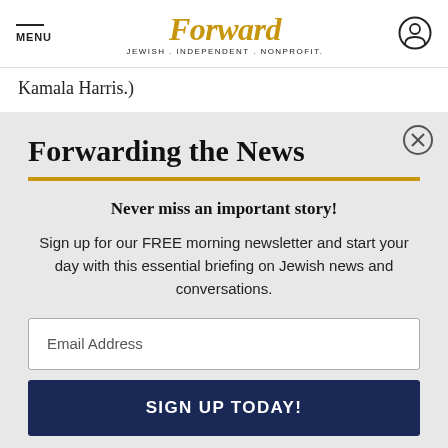MENU | Forward — JEWISH . INDEPENDENT . NONPROFIT.
Kamala Harris.)
Forwarding the News
Never miss an important story!
Sign up for our FREE morning newsletter and start your day with this essential briefing on Jewish news and conversations.
Email Address
SIGN UP TODAY!